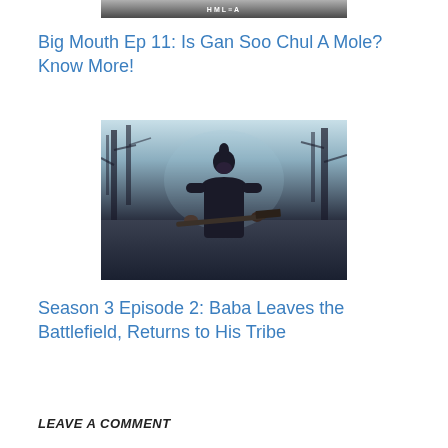[Figure (photo): Partial top image showing a dark banner with 'HML' text, cropped at top of page]
Big Mouth Ep 11: Is Gan Soo Chul A Mole? Know More!
[Figure (photo): A warrior/samurai figure in dark robes holding a weapon, standing in a wintry forest with bare trees and blue-grey light]
Season 3 Episode 2: Baba Leaves the Battlefield, Returns to His Tribe
LEAVE A COMMENT